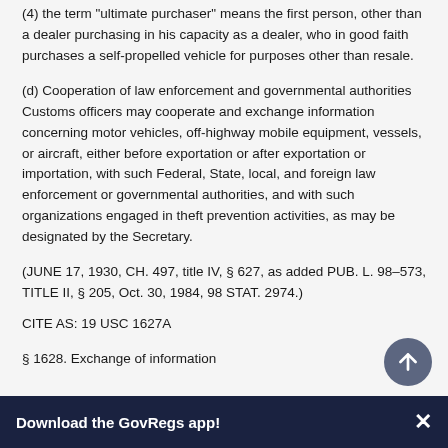(4) the term 'ultimate purchaser' means the first person, other than a dealer purchasing in his capacity as a dealer, who in good faith purchases a self-propelled vehicle for purposes other than resale.
(d) Cooperation of law enforcement and governmental authorities Customs officers may cooperate and exchange information concerning motor vehicles, off-highway mobile equipment, vessels, or aircraft, either before exportation or after exportation or importation, with such Federal, State, local, and foreign law enforcement or governmental authorities, and with such organizations engaged in theft prevention activities, as may be designated by the Secretary.
(JUNE 17, 1930, CH. 497, title IV, § 627, as added PUB. L. 98-573, TITLE II, § 205, Oct. 30, 1984, 98 STAT. 2974.)
CITE AS: 19 USC 1627A
§ 1628. Exchange of information
Download the GovRegs app!